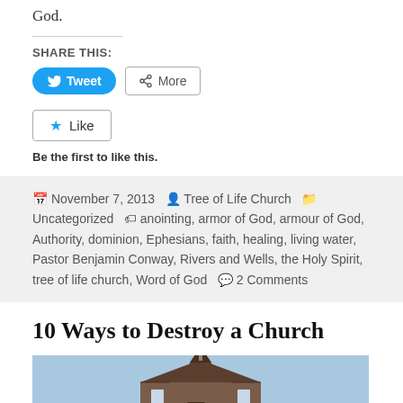God.
SHARE THIS:
[Figure (screenshot): Tweet and More social sharing buttons]
[Figure (screenshot): Like button]
Be the first to like this.
November 7, 2013  Tree of Life Church  Uncategorized  anointing, armor of God, armour of God, Authority, dominion, Ephesians, faith, healing, living water, Pastor Benjamin Conway, Rivers and Wells, the Holy Spirit, tree of life church, Word of God  2 Comments
10 Ways to Destroy a Church
[Figure (photo): Photo of a church building exterior]